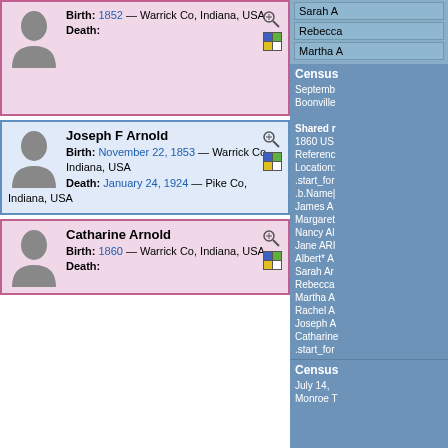[Figure (other): Person card with silhouette: Birth: 1852 — Warrick Co, Indiana, USA. Death:]
[Figure (other): Person card: Joseph F Arnold. Birth: November 22, 1853 — Warrick Co, Indiana, USA. Death: January 24, 1924 — Pike Co, Indiana, USA]
[Figure (other): Person card: Catharine Arnold. Birth: 1860 — Warrick Co, Indiana, USA. Death:]
Sarah A, Rebecca, Martha A
Census
September Boonville Shared r 1860 US Reference Location: .start_for .b.Name| James A Margaret Nancy Al Jane ARI Albert* A Sarah Ar Rebecca Martha A Rachel A Joseph A Catharine .start_for
Census
July 14, Monroe T